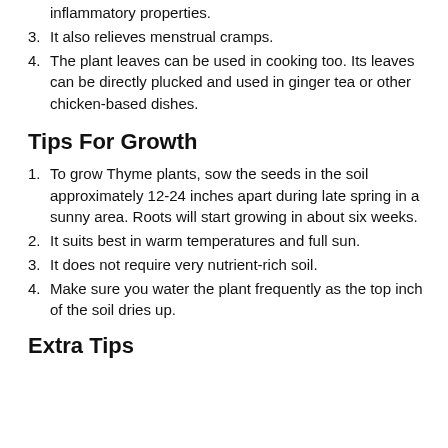inflammatory properties.
3. It also relieves menstrual cramps.
4. The plant leaves can be used in cooking too. Its leaves can be directly plucked and used in ginger tea or other chicken-based dishes.
Tips For Growth
1. To grow Thyme plants, sow the seeds in the soil approximately 12-24 inches apart during late spring in a sunny area. Roots will start growing in about six weeks.
2. It suits best in warm temperatures and full sun.
3. It does not require very nutrient-rich soil.
4. Make sure you water the plant frequently as the top inch of the soil dries up.
Extra Tips